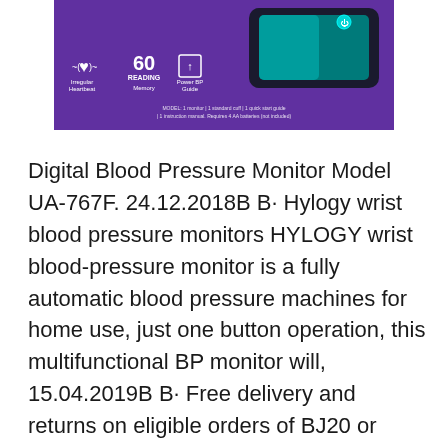[Figure (photo): Product packaging image of a HYLOGY blood pressure monitor on a purple background, showing the device display with teal screen and icons including irregular heartbeat symbol, 60 reading memory, and power BP guide.]
Digital Blood Pressure Monitor Model UA-767F. 24.12.2018B B· Hylogy wrist blood pressure monitors HYLOGY wrist blood-pressure monitor is a fully automatic blood pressure machines for home use, just one button operation, this multifunctional BP monitor will, 15.04.2019B B· Free delivery and returns on eligible orders of BJ20 or more. Buy Blood Pressure Monitor, HYLOGY Upper Arm Blood Pressure Monitor Professional and Accurate, with Large LED Screen Display and Cuff, 2 Users Mode for Home Use(Battery Included) at Amazon UK..